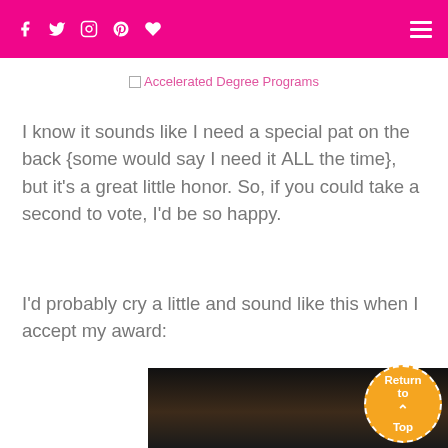Social media navigation header with icons and hamburger menu
[Figure (logo): Accelerated Degree Programs logo image (broken image indicator shown with text)]
I know it sounds like I need a special pat on the back {some would say I need it ALL the time}, but it's a great little honor. So, if you could take a second to vote, I'd be so happy.
I'd probably cry a little and sound like this when I accept my award:
[Figure (photo): Video thumbnail showing a woman with curly brown hair, dark background]
[Figure (illustration): Return to Top circular orange button with upward chevron arrow, dashed white border]